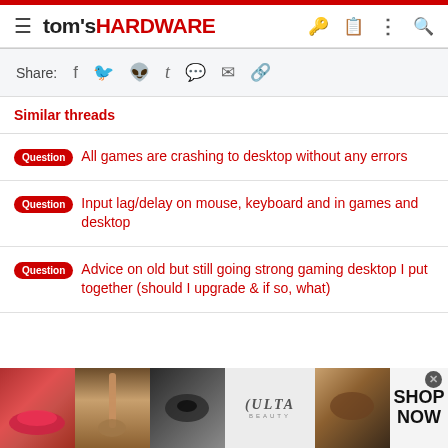tom's HARDWARE
Share:
Similar threads
Question  All games are crashing to desktop without any errors
Question  Input lag/delay on mouse, keyboard and in games and desktop
Question  Advice on old but still going strong gaming desktop I put together (should I upgrade & if so, what)
[Figure (photo): Advertisement banner for Ulta Beauty with makeup product images and SHOP NOW call to action]